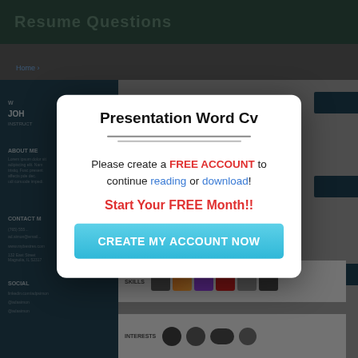Resume Questions
[Figure (screenshot): Blurred background showing a resume/CV preview page with dark teal left panel and gray right content area, partially visible breadcrumb navigation 'Home >']
Presentation Word Cv
Please create a FREE ACCOUNT to continue reading or download!
Start Your FREE Month!!
CREATE MY ACCOUNT NOW